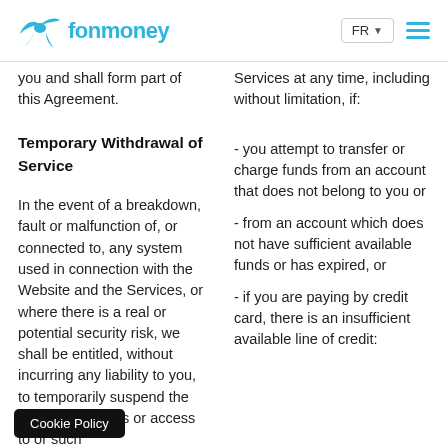fonmoney — FR — hamburger menu
you and shall form part of this Agreement.
Services at any time, including without limitation, if:
Temporary Withdrawal of Service
In the event of a breakdown, fault or malfunction of, or connected to, any system used in connection with the Website and the Services, or where there is a real or potential security risk, we shall be entitled, without incurring any liability to you, to temporarily suspend the relevant Services or access to or such
- you attempt to transfer or charge funds from an account that does not belong to you or
- from an account which does not have sufficient available funds or has expired, or
- if you are paying by credit card, there is an insufficient available line of credit: